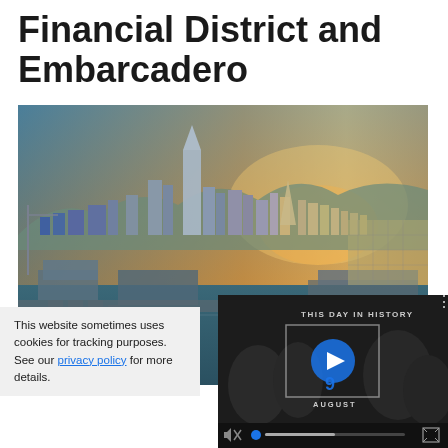Financial District and Embarcadero
[Figure (photo): Aerial photograph of the San Francisco Financial District and Embarcadero waterfront at golden hour sunset, showing skyscrapers, the waterfront piers, and city grid extending into the distance.]
This website sometimes uses cookies for tracking purposes. See our privacy policy for more details.
[Figure (screenshot): Video player overlay showing 'THIS DAY IN HISTORY' with a play button, the number 9 and 'AUGUST' label, video controls including mute button, progress bar, and fullscreen icon.]